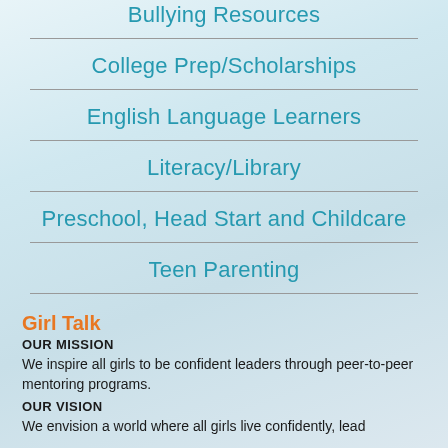Bullying Resources
College Prep/Scholarships
English Language Learners
Literacy/Library
Preschool, Head Start and Childcare
Teen Parenting
Girl Talk
OUR MISSION
We inspire all girls to be confident leaders through peer-to-peer mentoring programs.
OUR VISION
We envision a world where all girls live confidently, lead